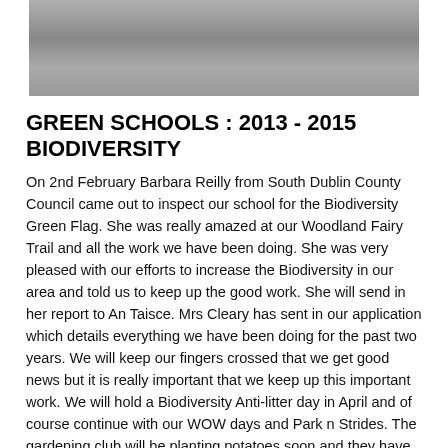[Figure (photo): Photo of students including one in a wheelchair on a paved outdoor area]
GREEN SCHOOLS : 2013 - 2015 BIODIVERSITY
On 2nd February Barbara Reilly from South Dublin County Council came out to inspect our school for the Biodiversity Green Flag.  She was really amazed at our Woodland Fairy Trail and all the work we have been doing.  She was very pleased with our efforts to increase the Biodiversity in our area and told us to keep up the good work.  She will send in her report to An Taisce.  Mrs Cleary has sent in our application which details everything we have been doing for the past two years.  We will keep our fingers crossed that we get good news but it is really important that we keep up this important work.  We will hold a Biodiversity Anti-litter day in April and of course continue with our WOW days and Park n Strides.  The gardening club will be planting potatoes soon and they have already planted lots of seeds.
Fantastic work continues to be done in our school garden - well done to the gardening club and to the green school committee.  All during